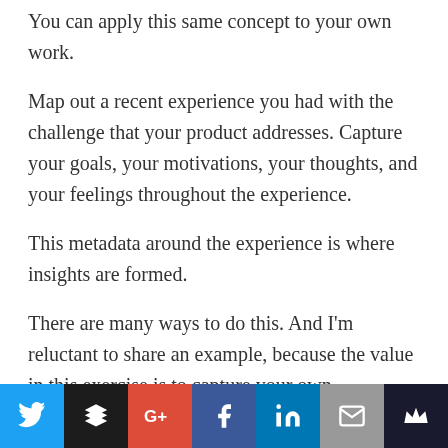You can apply this same concept to your own work.
Map out a recent experience you had with the challenge that your product addresses. Capture your goals, your motivations, your thoughts, and your feelings throughout the experience.
This metadata around the experience is where insights are formed.
There are many ways to do this. And I'm reluctant to share an example, because the value in this exercise is to capture your own perspective – not
Social share bar: Twitter, Buffer, Google+, Facebook, LinkedIn, Email, Crown